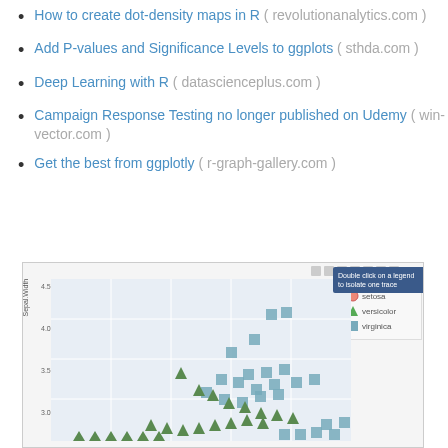How to create dot-density maps in R ( revolutionanalytics.com )
Add P-values and Significance Levels to ggplots ( sthda.com )
Deep Learning with R ( datascienceplus.com )
Campaign Response Testing no longer published on Udemy ( win-vector.com )
Get the best from ggplotly ( r-graph-gallery.com )
[Figure (screenshot): Screenshot of an interactive scatter plot (likely ggplotly/R) showing iris dataset with Sepal.Width on y-axis, data points colored/shaped by species: setosa (pink circles), versicolor (green triangles), virginica (blue squares). Y-axis shows values 3.0-4.5. A tooltip box and legend are visible.]